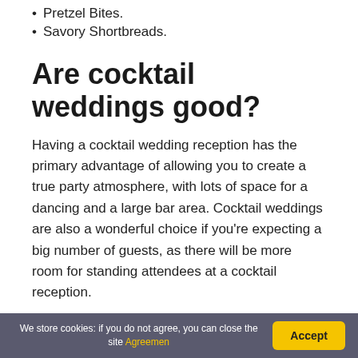Pretzel Bites.
Savory Shortbreads.
Are cocktail weddings good?
Having a cocktail wedding reception has the primary advantage of allowing you to create a true party atmosphere, with lots of space for a dancing and a large bar area. Cocktail weddings are also a wonderful choice if you're expecting a big number of guests, as there will be more room for standing attendees at a cocktail reception.
We store cookies: if you do not agree, you can close the site Agreemen